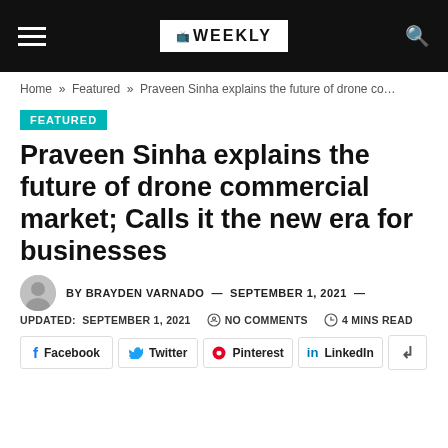WEEKLY
Home » Featured » Praveen Sinha explains the future of drone co…
FEATURED
Praveen Sinha explains the future of drone commercial market; Calls it the new era for businesses
BY BRAYDEN VARNADO — SEPTEMBER 1, 2021 —
UPDATED: SEPTEMBER 1, 2021   NO COMMENTS   4 MINS READ
Facebook   Twitter   Pinterest   LinkedIn